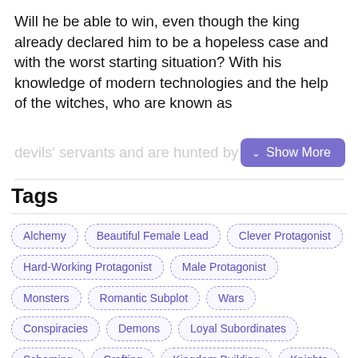Will he be able to win, even though the king already declared him to be a hopeless case and with the worst starting situation? With his knowledge of modern technologies and the help of the witches, who are known as devils' servants and are hunted by the the Holy...
Tags
Alchemy
Beautiful Female Lead
Clever Protagonist
Hard-Working Protagonist
Male Protagonist
Monsters
Romantic Subplot
Wars
Conspiracies
Demons
Loyal Subordinates
Scheming
Crafting
Kingdom Building
Knights
Marriage
Nobles
Calm Protagonist
Devoted Love Interests
Strong Love Interests
Multiple POV
Transmigration
Politics
Royalty
Depictions of Cruelty